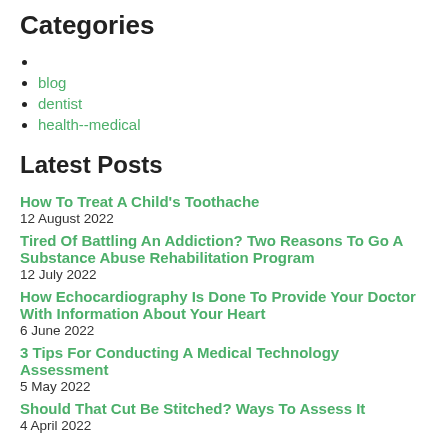Categories
blog
dentist
health--medical
Latest Posts
How To Treat A Child's Toothache
12 August 2022
Tired Of Battling An Addiction? Two Reasons To Go A Substance Abuse Rehabilitation Program
12 July 2022
How Echocardiography Is Done To Provide Your Doctor With Information About Your Heart
6 June 2022
3 Tips For Conducting A Medical Technology Assessment
5 May 2022
Should That Cut Be Stitched? Ways To Assess It
4 April 2022